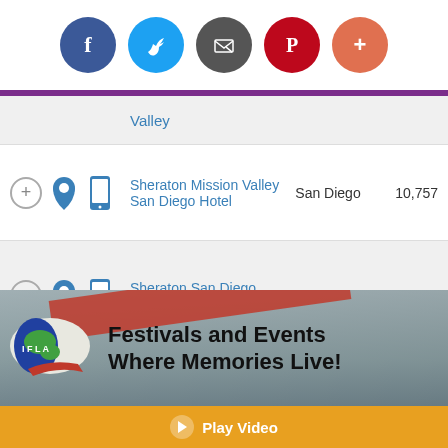[Figure (screenshot): Social media sharing icons: Facebook (blue), Twitter (light blue), Email (dark gray), Pinterest (red), Google+ (orange-red)]
Valley
Sheraton Mission Valley San Diego Hotel | San Diego | 10,757
Sheraton San Diego Hotel & Marina | San Diego | 131,802
The US Grant, a Luxury Collection Hotel, San Diego | San Diego | 33,704
[Figure (infographic): IFLA banner: Festivals and Events Where Memories Live! with globe logo and crowd background]
Play Video